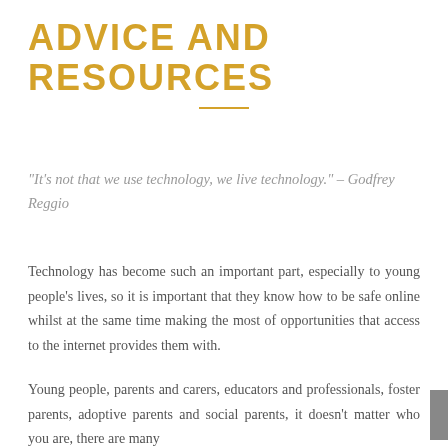ADVICE AND RESOURCES
“It’s not that we use technology, we live technology.” – Godfrey Reggio
Technology has become such an important part, especially to young people’s lives, so it is important that they know how to be safe online whilst at the same time making the most of opportunities that access to the internet provides them with.
Young people, parents and carers, educators and professionals, foster parents, adoptive parents and social parents, it doesn’t matter who you are, there are many